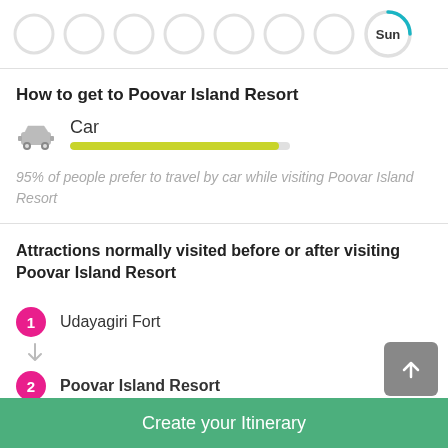[Figure (infographic): Row of circular day-selector icons with Sun selected and teal arc indicator]
How to get to Poovar Island Resort
[Figure (infographic): Car icon with label 'Car' and a yellow-green progress bar indicating 95% preference]
95% of people prefer to travel by car while visiting Poovar Island Resort
Attractions normally visited before or after visiting Poovar Island Resort
1 Udayagiri Fort
2 Poovar Island Resort
Create your Itinerary